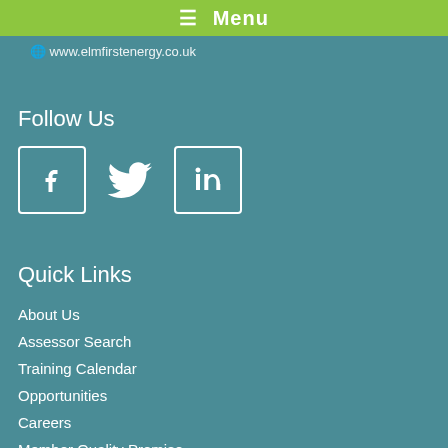≡ Menu
www.elmfirstenergy.co.uk
Follow Us
[Figure (other): Social media icons: Facebook, Twitter, LinkedIn]
Quick Links
About Us
Assessor Search
Training Calendar
Opportunities
Careers
Member Quality Promise
Latest News
FAQ